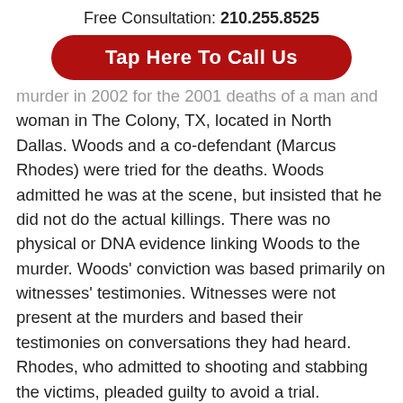Free Consultation: 210.255.8525
Tap Here To Call Us
murder in 2002 for the 2001 deaths of a man and woman in The Colony, TX, located in North Dallas. Woods and a co-defendant (Marcus Rhodes) were tried for the deaths. Woods admitted he was at the scene, but insisted that he did not do the actual killings. There was no physical or DNA evidence linking Woods to the murder. Woods' conviction was based primarily on witnesses' testimonies. Witnesses were not present at the murders and based their testimonies on conversations they had heard. Rhodes, who admitted to shooting and stabbing the victims, pleaded guilty to avoid a trial. Backpacks belonging to the victims were found in Rhodes' car and the guns used were found at the